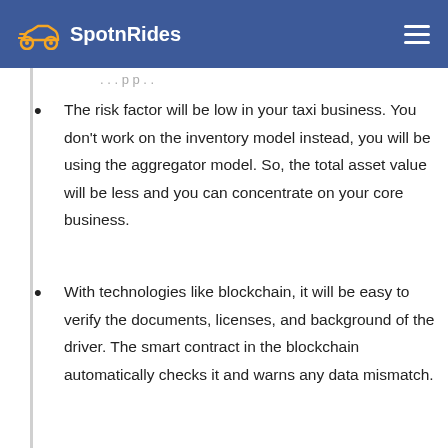SpotnRides
The risk factor will be low in your taxi business. You don't work on the inventory model instead, you will be using the aggregator model. So, the total asset value will be less and you can concentrate on your core business.
With technologies like blockchain, it will be easy to verify the documents, licenses, and background of the driver. The smart contract in the blockchain automatically checks it and warns any data mismatch.